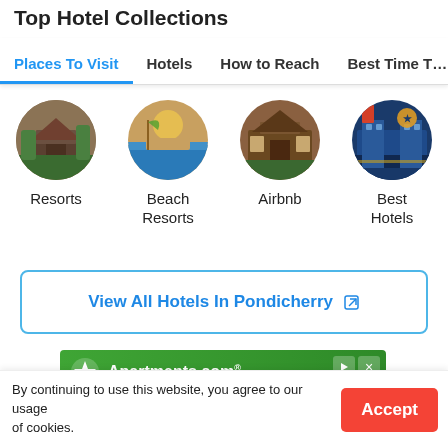Top Hotel Collections
Places To Visit | Hotels | How to Reach | Best Time T…
[Figure (screenshot): Four circular hotel collection thumbnails: Resorts, Beach Resorts, Airbnb, Best Hotels]
Resorts
Beach Resorts
Airbnb
Best Hotels
View All Hotels In Pondicherry ↗
[Figure (screenshot): Apartments.com advertisement banner with green header and property photos]
By continuing to use this website, you agree to our usage of cookies.